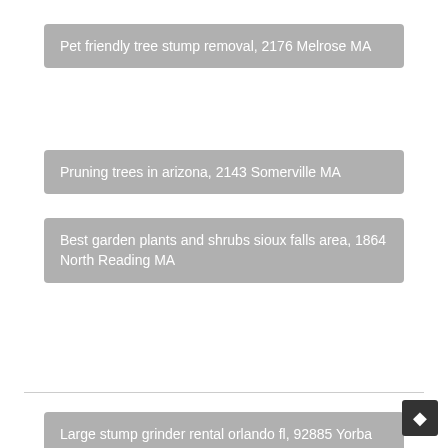Pet friendly tree stump removal, 2176 Melrose MA
Pruning trees in arizona, 2143 Somerville MA
Best garden plants and shrubs sioux falls area, 1864 North Reading MA
Large stump grinder rental orlando fl, 92885 Yorba Linda CA
Silverberry bush pruning, 1880 Wakefield MA
Man cutting tree between two buildings, 92885 Yorba Linda CA